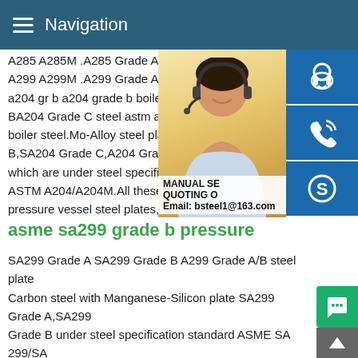Navigation
A285 A285M .A285 Grade A .A285 Grade A299 A299M .A299 Grade A .A299 Grade a204 gr b a204 grade b boiler steel A204 G BA204 Grade C steel astm a204 a204m a boiler steel.Mo-Alloy steel plate SA204 Gr B,SA204 Grade C,A204 Grade A,A204 Gr which are under steel specification ASME ASTM A204/A204M.All these steel grades pressure vessel steel plates,for A204 Gra
[Figure (photo): Customer service representative woman with headset, smiling, with blue contact/support icon buttons on the right side (headset icon, phone icon, Skype icon). Overlay text: MANUAL SE... QUOTING O... Email: bsteel1@163.com]
asme sa299 grade b pressure
SA299 Grade A SA299 Grade B A299 Grade A/B steel plate Carbon steel with Manganese-Silicon plate SA299 Grade A,SA299 Grade B under steel specification standard ASME SA 299/SA 299M.There are other two steel grades A299 Grade A and A29 Grade B owned the similar steel properity which is according t